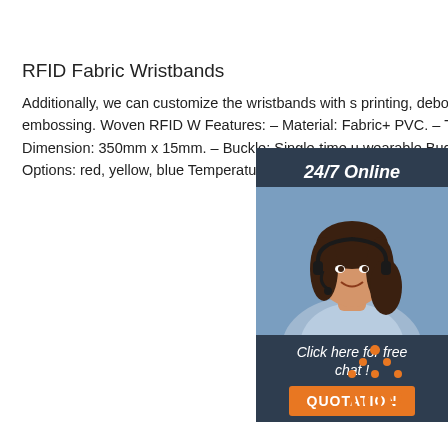RFID Fabric Wristbands
Additionally, we can customize the wristbands with s printing, debossing, and embossing. Woven RFID W Features: – Material: Fabric+ PVC. – Tag: 26*35/27 Dimension: 350mm x 15mm. – Buckle: Single-time u wearable Buckle. – Color Options: red, yellow, blue Temperature: -30~80°C.
[Figure (illustration): Customer support chat widget with '24/7 Online' label, photo of woman with headset, 'Click here for free chat!' text, and orange QUOTATION button]
Get Price
[Figure (logo): Orange TOP logo with dots arranged in triangle shape above the letters TOP]